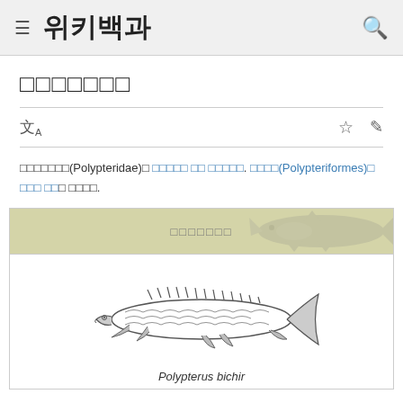위키백과
□□□□□□□
□□□□□□□(Polypteridae)□ □□□□□ □□ □□□□□. □□□□(Polypteriformes)□ □□□ □□□ □□□□.
[Figure (illustration): Taxobox showing a bichir fish illustration with header and Polypterus bichir label. The header area has a tan/olive background with a decorative watermark fish silhouette. Below is a detailed black and white illustration of Polypterus bichir fish.]
Polypterus bichir